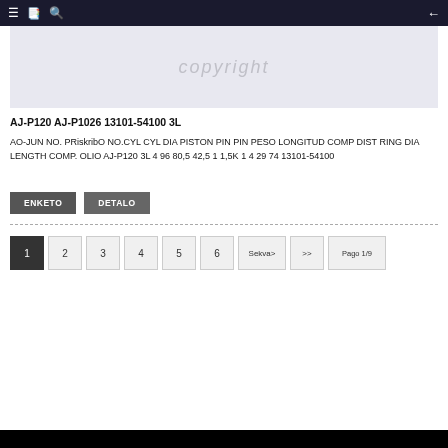≡  📋  🔍   ←
[Figure (other): Watermark/copyright image placeholder with light purple background]
AJ-P120 AJ-P1026 13101-54100 3L
AO-JUN NO. PRiskribO NO.CYL CYL DIA PISTON PIN PIN PESO LONGITUD COMP DIST RING DIA LENGTH COMP. OLIO AJ-P120 3L 4 96 80,5 42,5 1 1,5K 1 4 29 74 13101-54100
ENKETO
DETALO
1  2  3  4  5  6  Sekva>  >>  Pago 1/9